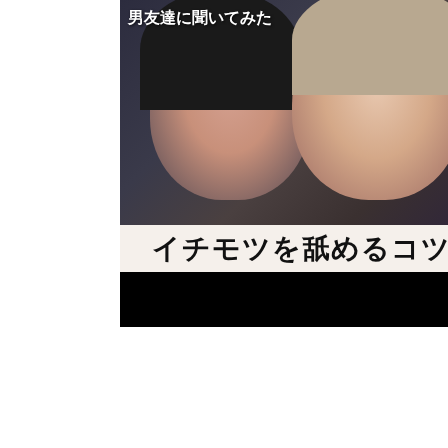[Figure (screenshot): Thumbnail image showing two young East Asian people (one with dark hair, one with light brown/blonde hair) posing together. Japanese text overlay reads '男友達に聞いてみた' (Asked my male friends). Below the photo is a banner with large Japanese text 'イチモツを舐めるコツ', followed by a black censored bar.]
[Figure (screenshot): Partial thumbnail showing a black bar on top, then a split view: left side shows a person in white clothing with brown/orange hair, right side shows a Taiko no Tatsujin (drum game) screenshot with orange background and game UI elements.]